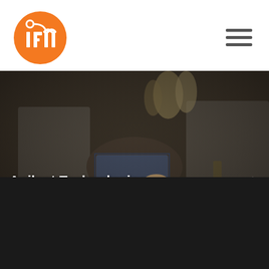[Figure (logo): IFM logo: orange circle with white 'ifm' text and small circle element]
[Figure (photo): Dark photograph of people in suits handling documents/books at an event]
Agilent Technologies
Altro ↺
"Con il GIB SCM Award, il successo diventa visibile."
Bjorn Dunkel, GIB